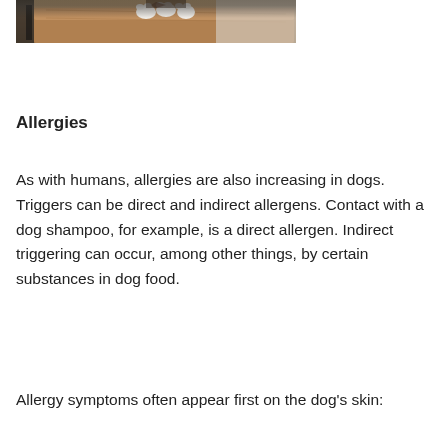[Figure (photo): Photo of a dog's paws resting on a wooden surface, with a dark object visible to the left and a light background.]
Allergies
As with humans, allergies are also increasing in dogs. Triggers can be direct and indirect allergens. Contact with a dog shampoo, for example, is a direct allergen. Indirect triggering can occur, among other things, by certain substances in dog food.
Allergy symptoms often appear first on the dog's skin: